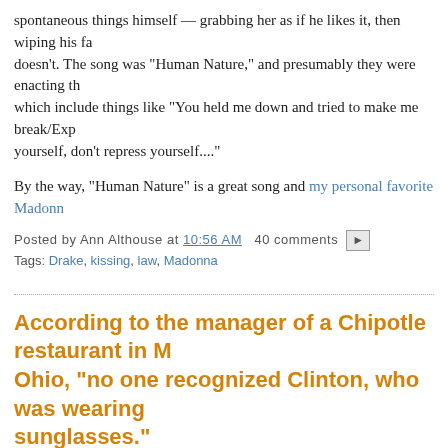spontaneous things himself — grabbing her as if he likes it, then wiping his fa... doesn't. The song was "Human Nature," and presumably they were enacting th... which include things like "You held me down and tried to make me break/Exp... yourself, don't repress yourself...."
By the way, "Human Nature" is a great song and my personal favorite Madonn...
Posted by Ann Althouse at 10:56 AM   40 comments
Tags: Drake, kissing, law, Madonna
According to the manager of a Chipotle restaurant in M... Ohio, "no one recognized Clinton, who was wearing sunglasses."
ABCNews reports in "Hillary Clinton Makes Surprise Pit Stop at Chipotle in C... Presidential Roadtrip."
I once sat in a restaurant next to John Lennon and Yoko Ono, and I never disp... recognition and neither did anyone else in the restaurant. That did not mean w...